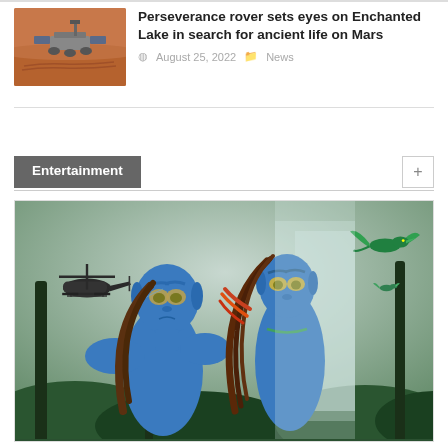[Figure (photo): Mars rover Perseverance thumbnail photo on reddish-brown Mars terrain]
Perseverance rover sets eyes on Enchanted Lake in search for ancient life on Mars
August 25, 2022   News
Entertainment
[Figure (photo): Avatar movie promotional image showing two blue Na'vi characters (Jake Sully and Neytiri) back to back with jungle, helicopter, and flying creatures in background]